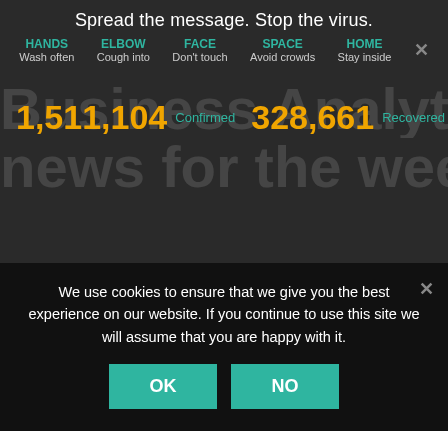Spread the message. Stop the virus.
HANDS Wash often  ELBOW Cough into  FACE Don't touch  SPACE Avoid crowds  HOME Stay inside
1,511,104  Confirmed  328,661  Recovered
We use cookies to ensure that we give you the best experience on our website. If you continue to use this site we will assume that you are happy with it.
Business Analytics news
This has been an extremely busy but exciting week. It seems like the whole world is full of energy. Here are a few things you might want to be aware of.